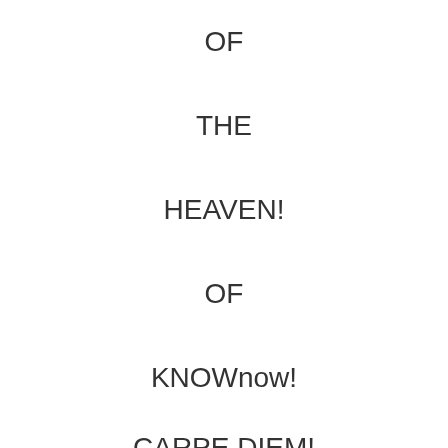OF
THE
HEAVEN!
OF
KNOWnow!
CARPE DIEM!
aka
SEIZE THE DAY!
HELL
NO!
SEIZE